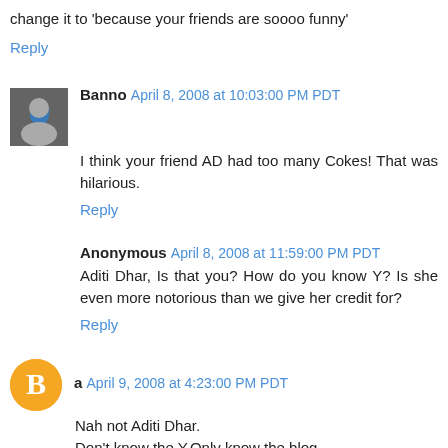change it to 'because your friends are soooo funny'
Reply
Banno  April 8, 2008 at 10:03:00 PM PDT
I think your friend AD had too many Cokes! That was hilarious.
Reply
Anonymous  April 8, 2008 at 11:59:00 PM PDT
Aditi Dhar, Is that you? How do you know Y? Is she even more notorious than we give her credit for?
Reply
a  April 9, 2008 at 4:23:00 PM PDT
Nah not Aditi Dhar.
Don't know the Y.Only know the blog.
Reply